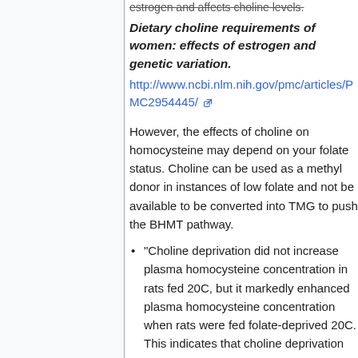Dietary choline requirements of women: effects of estrogen and genetic variation.
http://www.ncbi.nlm.nih.gov/pmc/articles/PMC2954445/
However, the effects of choline on homocysteine may depend on your folate status. Choline can be used as a methyl donor in instances of low folate and not be available to be converted into TMG to push the BHMT pathway.
“Choline deprivation did not increase plasma homocysteine concentration in rats fed 20C, but it markedly enhanced plasma homocysteine concentration when rats were fed folate-deprived 20C. This indicates that choline deprivation reinforced